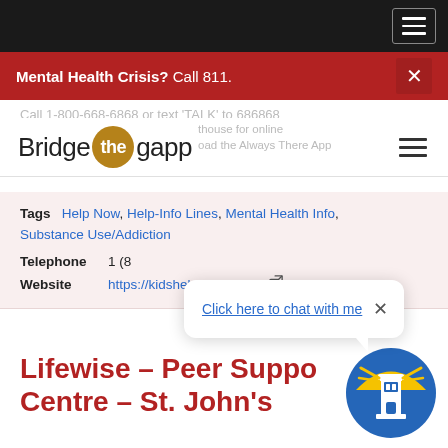Mental Health Crisis? Call 811.
[Figure (logo): Bridge the gapp logo with golden circle around 'the']
Call 1-800-668-6868 or text 'TALK' to 686868
Visit our homepage for online resources or download the Always There App
Tags  Help Now, Help-Info Lines, Mental Health Info, Substance Use/Addiction
Telephone  1 (8...
Website  https://kidshelpphone.ca/
Click here to chat with me
Lifewise – Peer Support Centre – St. John's